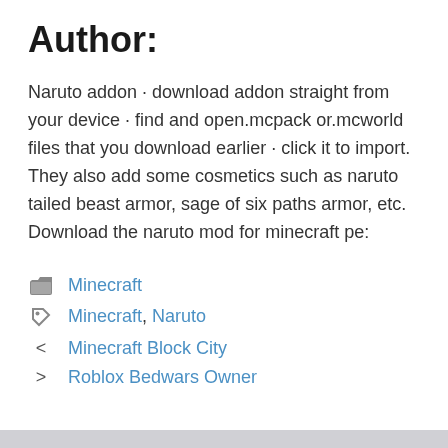Author:
Naruto addon · download addon straight from your device · find and open.mcpack or.mcworld files that you download earlier · click it to import. They also add some cosmetics such as naruto tailed beast armor, sage of six paths armor, etc. Download the naruto mod for minecraft pe:
Minecraft (category link)
Minecraft, Naruto (tags links)
< Minecraft Block City (previous post link)
> Roblox Bedwars Owner (next post link)